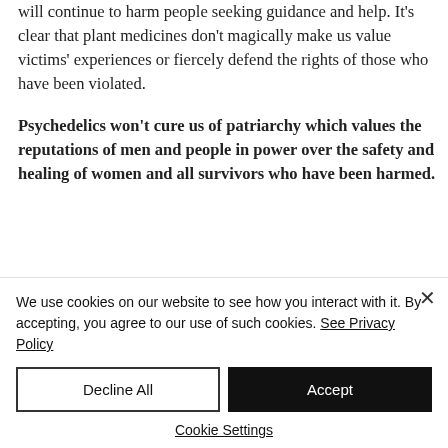will continue to harm people seeking guidance and help. It’s clear that plant medicines don’t magically make us value victims’ experiences or fiercely defend the rights of those who have been violated.
Psychedelics won’t cure us of patriarchy which values the reputations of men and people in power over the safety and healing of women and all survivors who have been harmed.
We use cookies on our website to see how you interact with it. By accepting, you agree to our use of such cookies. See Privacy Policy
Decline All
Accept
Cookie Settings